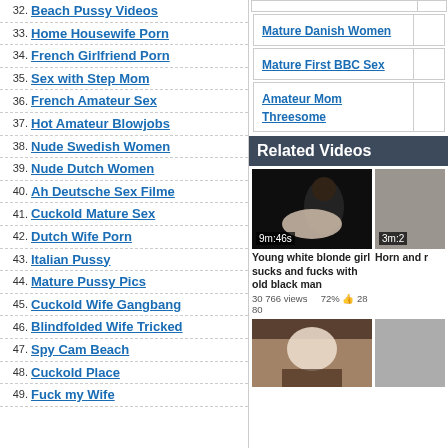32. Beach Pussy Videos
33. Home Housewife Porn
34. French Girlfriend Porn
35. Sex with Step Mom
36. French Amateur Sex
37. Hot Amateur Blowjobs
38. Nude Swedish Women
39. Nude Dutch Women
40. Ah Deutsche Sex Filme
41. Cuckold Mature Sex
42. Dutch Wife Porn
43. Italian Pussy
44. Mature Pussy Pics
45. Cuckold Wife Gangbang
46. Blindfolded Wife Tricked
47. Spy Cam Beach
48. Cuckold Place
49. Fuck my Wife
Mature Danish Women
Mature First BBC Sex
Amateur Mom Threesome
Related Videos
[Figure (photo): Video thumbnail showing adult content, duration 9m:46s]
Young white blonde girl sucks and fucks with old black man
30 766 views   72%  28 80
[Figure (photo): Video thumbnail showing adult content, bottom row]